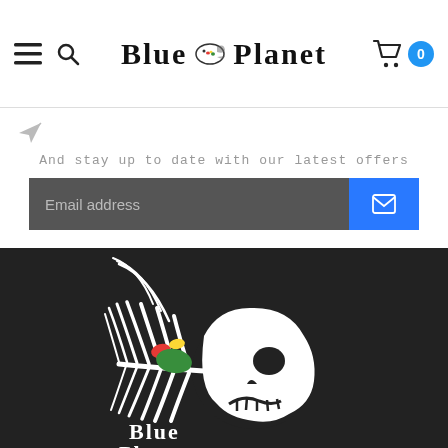Blue Planet — navigation header with hamburger menu, search icon, logo, and cart (0)
SUBSCRIBE TO OUR NEWSLETTER
And stay up to date with our latest offers
Email address
[Figure (logo): Blue Planet fish-skull logo in white with red, yellow, and green Hawaiian islands, with 'Blue Planet' text below, on dark background]